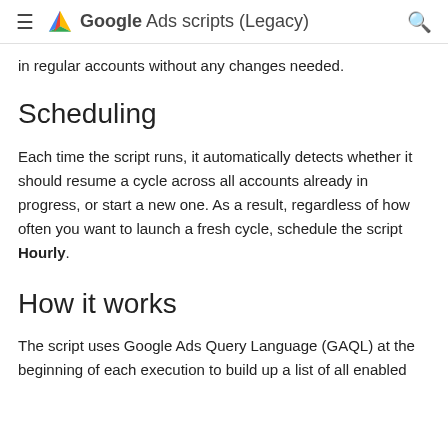≡  Google Ads scripts (Legacy)  🔍
in regular accounts without any changes needed.
Scheduling
Each time the script runs, it automatically detects whether it should resume a cycle across all accounts already in progress, or start a new one. As a result, regardless of how often you want to launch a fresh cycle, schedule the script Hourly.
How it works
The script uses Google Ads Query Language (GAQL) at the beginning of each execution to build up a list of all enabled